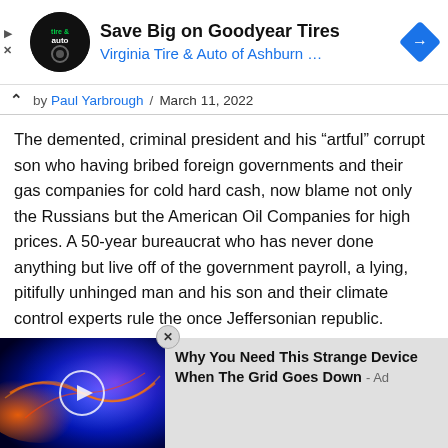[Figure (screenshot): Advertisement banner: Virginia Tire & Auto logo, 'Save Big on Goodyear Tires', 'Virginia Tire & Auto of Ashburn ...', blue navigation arrow icon on right, play and X icons on left]
by Paul Yarbrough / March 11, 2022
The demented, criminal president and his “artful” corrupt son who having bribed foreign governments and their gas companies for cold hard cash, now blame not only the Russians but the American Oil Companies for high prices. A 50-year bureaucrat who has never done anything but live off of the government payroll, a lying, pitifully unhinged man and his son and their climate control experts rule the once Jeffersonian republic.
[Figure (screenshot): Bottom advertisement: thumbnail with glowing plasma/energy visual and play button, text 'Why You Need This Strange Device When The Grid Goes Down - Ad']